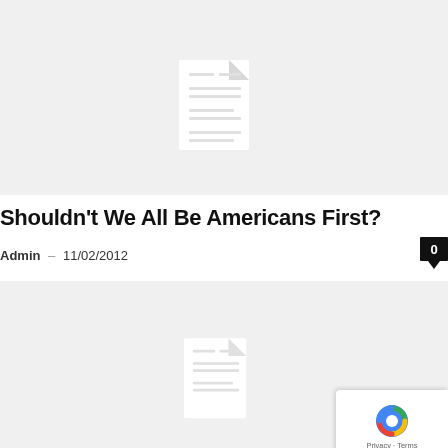[Figure (illustration): Gray placeholder card image with a document/file icon in the center]
Shouldn't We All Be Americans First?
Admin – 11/02/2012
[Figure (illustration): Second gray placeholder card image with a document/file icon, partially visible. reCAPTCHA badge in bottom right corner.]